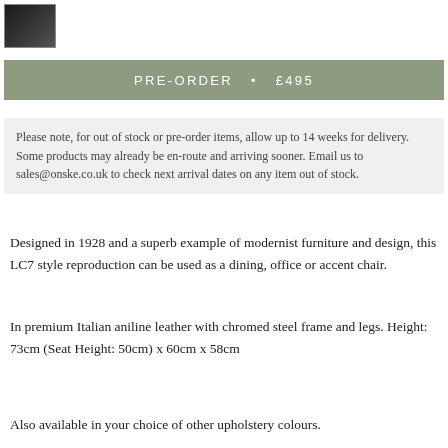[Figure (photo): Small thumbnail image of a dark-colored chair, shown as a small square preview image with a border.]
PRE-ORDER  •  £495
Please note, for out of stock or pre-order items, allow up to 14 weeks for delivery. Some products may already be en-route and arriving sooner. Email us to sales@onske.co.uk to check next arrival dates on any item out of stock.
Designed in 1928 and a superb example of modernist furniture and design, this LC7 style reproduction can be used as a dining, office or accent chair.
In premium Italian aniline leather with chromed steel frame and legs. Height: 73cm (Seat Height: 50cm) x 60cm x 58cm
Also available in your choice of other upholstery colours.